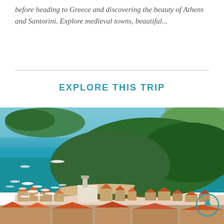before heading to Greece and discovering the beauty of Athens and Santorini. Explore medieval towns, beautiful...
EXPLORE THIS TRIP
[Figure (photo): Aerial view of a coastal Mediterranean town with red-roofed buildings, a harbour filled with boats, turquoise sea, and forested hillside, likely Hvar, Croatia.]